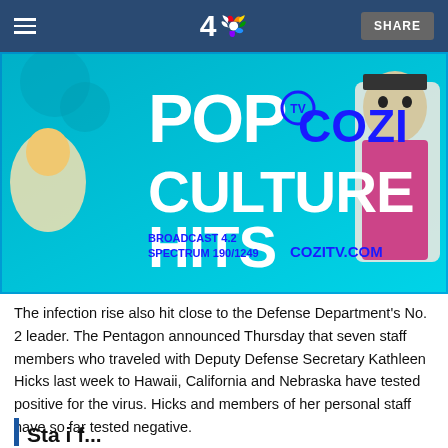4 NBC | SHARE
[Figure (illustration): Advertisement banner for Cozi TV showing 'POP COZI TV CULTURE HITS' with images of classic TV characters. Text reads: BROADCAST 4.2, SPECTRUM 190/1249, COZITV.COM]
The infection rise also hit close to the Defense Department's No. 2 leader. The Pentagon announced Thursday that seven staff members who traveled with Deputy Defense Secretary Kathleen Hicks last week to Hawaii, California and Nebraska have tested positive for the virus. Hicks and members of her personal staff have so far tested negative.
Sta i f...